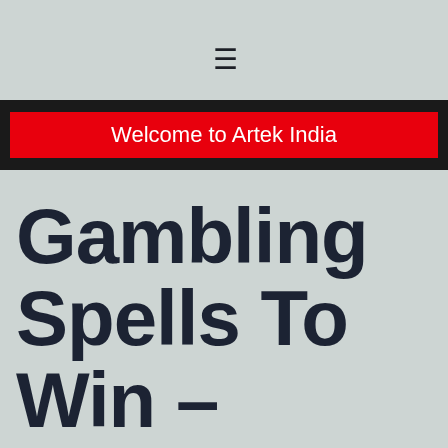≡
Welcome to Artek India
Gambling Spells To Win – Online games, the